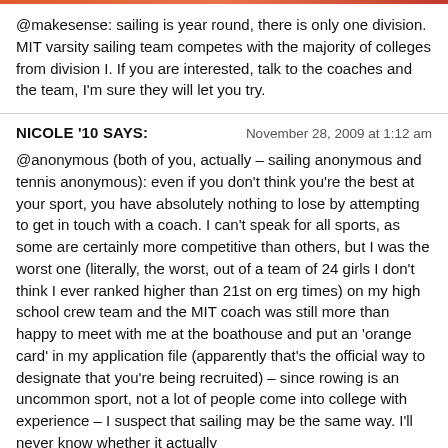@makesense: sailing is year round, there is only one division. MIT varsity sailing team competes with the majority of colleges from division I. If you are interested, talk to the coaches and the team, I'm sure they will let you try.
NICOLE '10 SAYS:   November 28, 2009 at 1:12 am
@anonymous (both of you, actually – sailing anonymous and tennis anonymous): even if you don't think you're the best at your sport, you have absolutely nothing to lose by attempting to get in touch with a coach. I can't speak for all sports, as some are certainly more competitive than others, but I was the worst one (literally, the worst, out of a team of 24 girls I don't think I ever ranked higher than 21st on erg times) on my high school crew team and the MIT coach was still more than happy to meet with me at the boathouse and put an 'orange card' in my application file (apparently that's the official way to designate that you're being recruited) – since rowing is an uncommon sport, not a lot of people come into college with experience – I suspect that sailing may be the same way. I'll never know whether it actually